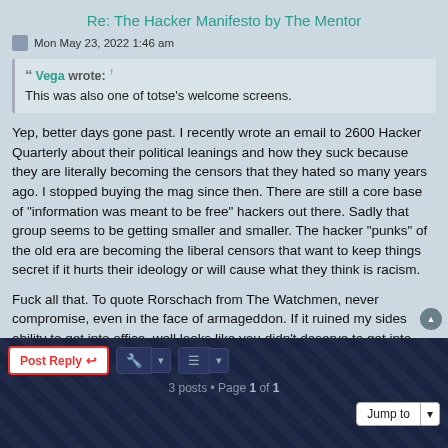Re: The Hacker Manifesto by The Mentor
Mon May 23, 2022 1:46 am
Vega wrote: ↑
This was also one of totse's welcome screens.
Yep, better days gone past. I recently wrote an email to 2600 Hacker Quarterly about their political leanings and how they suck because they are literally becoming the censors that they hated so many years ago. I stopped buying the mag since then. There are still a core base of "information was meant to be free" hackers out there. Sadly that group seems to be getting smaller and smaller. The hacker "punks" of the old era are becoming the liberal censors that want to keep things secret if it hurts their ideology or will cause what they think is racism.
Fuck all that. To quote Rorschach from The Watchmen, never compromise, even in the face of armageddon. If it ruined my sides ability to get into office, well looks like you didn't deserve to get into office.
3 posts • Page 1 of 1